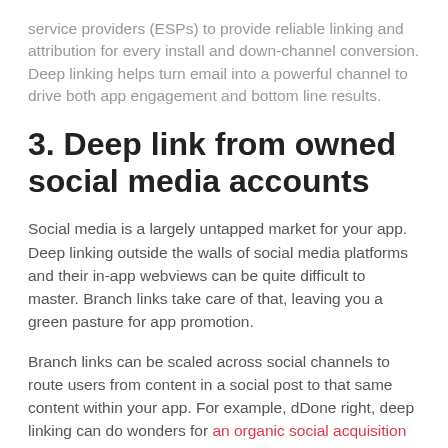service providers (ESPs) to provide reliable linking and attribution for every install and down-channel conversion. Deep linking helps turn email into a powerful channel to drive both app engagement and bottom line results.
3. Deep link from owned social media accounts
Social media is a largely untapped market for your app. Deep linking outside the walls of social media platforms and their in-app webviews can be quite difficult to master. Branch links take care of that, leaving you a green pasture for app promotion.
Branch links can be scaled across social channels to route users from content in a social post to that same content within your app. For example, dDone right, deep linking can do wonders for an organic social acquisition strategy.